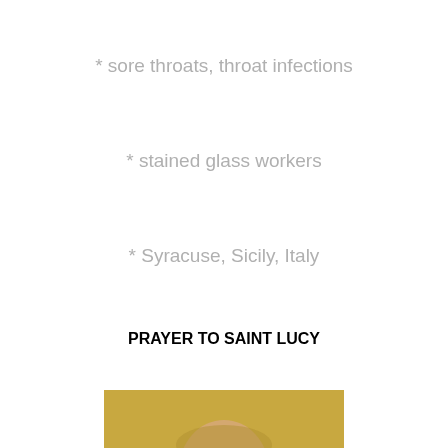* sore throats, throat infections
* stained glass workers
* Syracuse, Sicily, Italy
PRAYER TO SAINT LUCY
[Figure (illustration): Medieval or Byzantine-style painting on gold background showing Saint Lucy holding a plate or palm frond with her eyes, depicted from roughly chest-up. The figure wears red garments against a golden yellow background. The face shows stylized eyes and serene expression typical of religious iconography.]